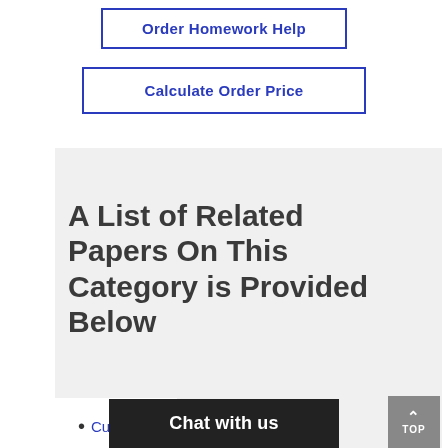Order Homework Help
Calculate Order Price
A List of Related Papers On This Category is Provided Below
Chat with us
TOP